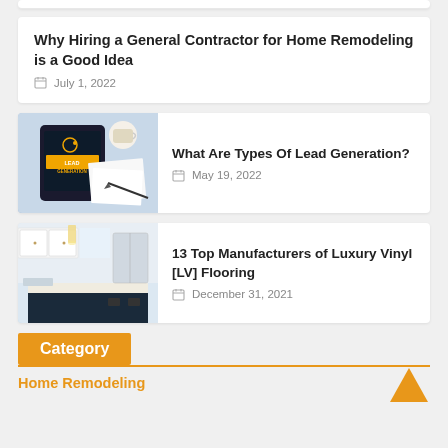Why Hiring a General Contractor for Home Remodeling is a Good Idea
July 1, 2022
[Figure (photo): Lead Generation tablet on desk with coffee and papers]
What Are Types Of Lead Generation?
May 19, 2022
[Figure (photo): Modern luxury kitchen with white cabinets and island]
13 Top Manufacturers of Luxury Vinyl [LV] Flooring
December 31, 2021
Category
Home Remodeling